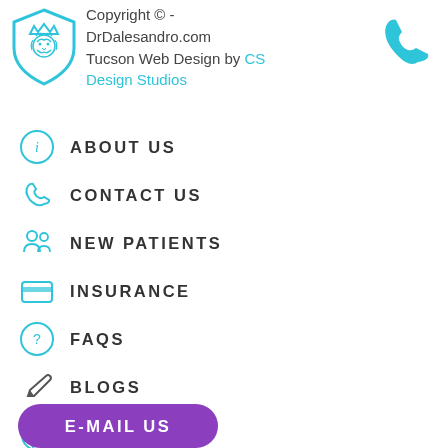[Figure (logo): Lion head in shield logo, teal/cyan colored]
Copyright © -
DrDalesandro.com
Tucson Web Design by CS Design Studios
[Figure (illustration): Teal phone handset icon]
ABOUT US
CONTACT US
NEW PATIENTS
INSURANCE
FAQS
BLOGS
SITEMAP
PRIVACY POLICY
E-MAIL US